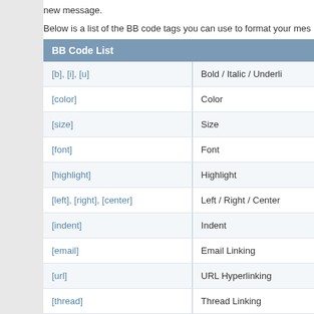new message.
Below is a list of the BB code tags you can use to format your mes
| BB Code List |  |
| --- | --- |
| [b], [i], [u] | Bold / Italic / Underli |
| [color] | Color |
| [size] | Size |
| [font] | Font |
| [highlight] | Highlight |
| [left], [right], [center] | Left / Right / Center |
| [indent] | Indent |
| [email] | Email Linking |
| [url] | URL Hyperlinking |
| [thread] | Thread Linking |
| [post] | Post Linking |
| [list] | Bulleted Lists / Adva |
| [img] | Images |
| [video] | Videos |